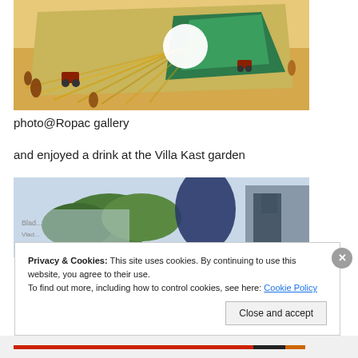[Figure (illustration): Colorful artwork showing a landscape with tractors, a large white circle (sun), and green hills, appearing as overlapping postcards or prints on a sandy/warm background.]
photo@Ropac gallery
and enjoyed a drink at the Villa Kast garden
[Figure (photo): Outdoor photo showing silhouettes of two people (one large blue/dark shape) against a background of trees and sky, with a blurred outdoor setting.]
Privacy & Cookies: This site uses cookies. By continuing to use this website, you agree to their use.
To find out more, including how to control cookies, see here: Cookie Policy